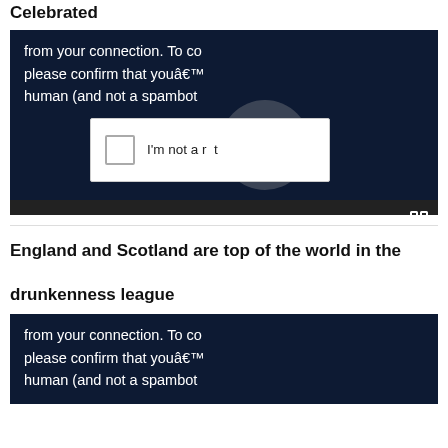Be the light in the darkness – How CHAI Memorial Day Celebrated
[Figure (screenshot): Video player showing CAPTCHA overlay with 'from your connection. To co... please confirm that youâ€™... human (and not a spambot' text and 'I'm not a robot' checkbox, with video controls bar at bottom showing 00:00 timestamps]
England and Scotland are top of the world in the drunkenness league
[Figure (screenshot): Partial video player showing CAPTCHA text 'from your connection. To co... please confirm that youâ€™... human (and not a spambot']